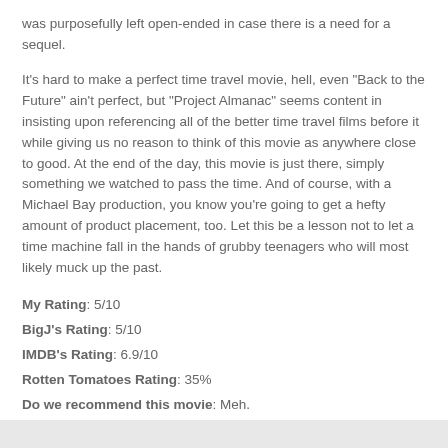was purposefully left open-ended in case there is a need for a sequel.
It's hard to make a perfect time travel movie, hell, even "Back to the Future" ain't perfect, but "Project Almanac" seems content in insisting upon referencing all of the better time travel films before it while giving us no reason to think of this movie as anywhere close to good. At the end of the day, this movie is just there, simply something we watched to pass the time. And of course, with a Michael Bay production, you know you're going to get a hefty amount of product placement, too. Let this be a lesson not to let a time machine fall in the hands of grubby teenagers who will most likely muck up the past.
My Rating: 5/10
BigJ's Rating: 5/10
IMDB's Rating: 6.9/10
Rotten Tomatoes Rating: 35%
Do we recommend this movie: Meh.